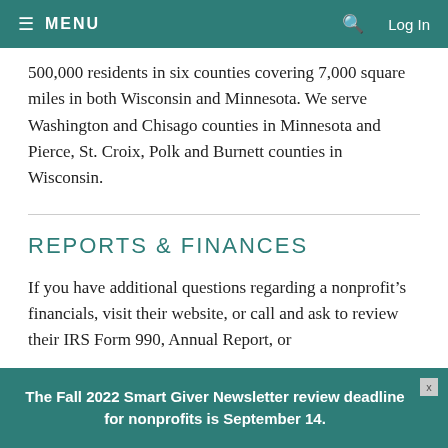≡ MENU  🔍  Log In
500,000 residents in six counties covering 7,000 square miles in both Wisconsin and Minnesota. We serve Washington and Chisago counties in Minnesota and Pierce, St. Croix, Polk and Burnett counties in Wisconsin.
REPORTS & FINANCES
If you have additional questions regarding a nonprofit's financials, visit their website, or call and ask to review their IRS Form 990, Annual Report, or
The Fall 2022 Smart Giver Newsletter review deadline for nonprofits is September 14.